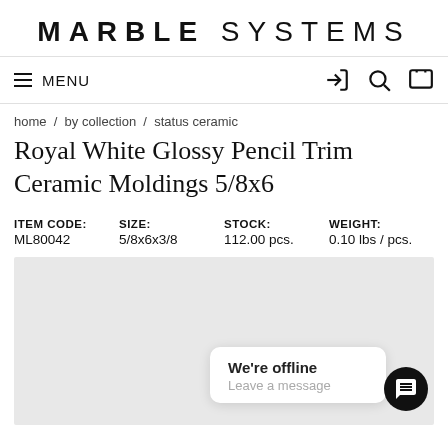MARBLE SYSTEMS
≡ MENU
home / by collection / status ceramic
Royal White Glossy Pencil Trim Ceramic Moldings 5/8x6
| ITEM CODE: | SIZE: | STOCK: | WEIGHT: |
| --- | --- | --- | --- |
| ML80042 | 5/8x6x3/8 | 112.00 pcs. | 0.10 lbs / pcs. |
[Figure (photo): Light grey product image area with an offline chat popup reading 'We're offline / Leave a message' and a black circular chat button with speech bubble icon.]